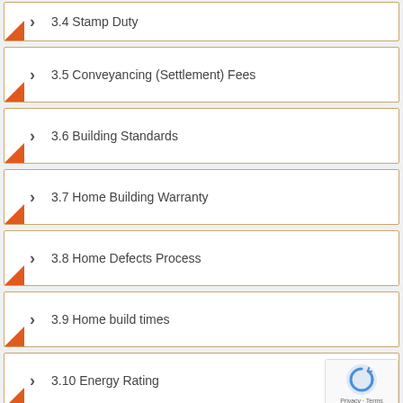3.4 Stamp Duty
3.5 Conveyancing (Settlement) Fees
3.6 Building Standards
3.7 Home Building Warranty
3.8 Home Defects Process
3.9 Home build times
3.10 Energy Rating